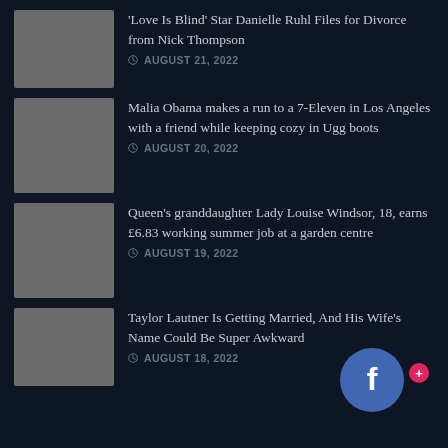'Love Is Blind' Star Danielle Ruhl Files for Divorce from Nick Thompson — AUGUST 21, 2022
Malia Obama makes a run to a 7-Eleven in Los Angeles with a friend while keeping cozy in Ugg boots — AUGUST 20, 2022
Queen's granddaughter Lady Louise Windsor, 18, earns £6.83 working summer job at a garden centre — AUGUST 19, 2022
Taylor Lautner Is Getting Married, And His Wife's Name Could Be Super Awkward — AUGUST 18, 2022